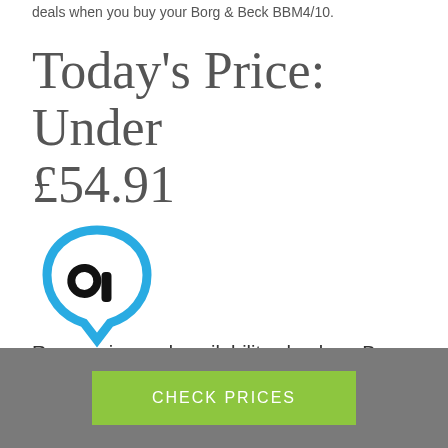deals when you buy your Borg & Beck BBM4/10.
Today's Price: Under £54.91
[Figure (logo): Blue speech-bubble / map-pin shaped icon with a wrench/spanner symbol inside, in black on white background.]
Run a price and availability check on Borg & Beck BBM4710
CHECK PRICES